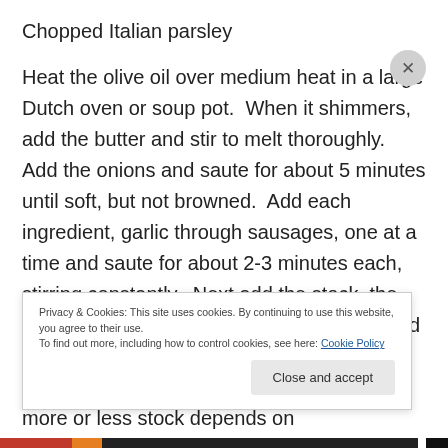Chopped Italian parsley
Heat the olive oil over medium heat in a large Dutch oven or soup pot.  When it shimmers, add the butter and stir to melt thoroughly.  Add the onions and saute for about 5 minutes until soft, but not browned.  Add each ingredient, garlic through sausages, one at a time and saute for about 2-3 minutes each, stirring constantly.  Next add the stock, the tomatoes and their juices, the herbs, salt and pepper, the cannelini and kidney beans and the parmesan rinds if you are using.  Adding more or less stock depends on
Privacy & Cookies: This site uses cookies. By continuing to use this website, you agree to their use.
To find out more, including how to control cookies, see here: Cookie Policy
Close and accept